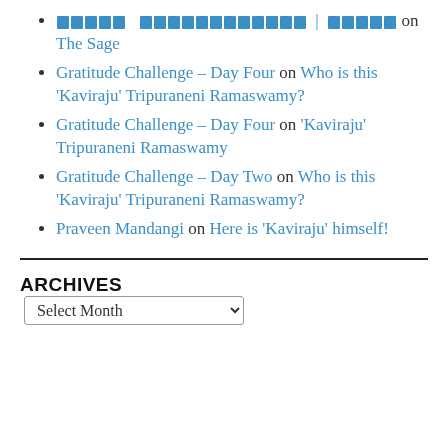[redacted] [redacted] | [redacted] on The Sage
Gratitude Challenge – Day Four on Who is this 'Kaviraju' Tripuraneni Ramaswamy?
Gratitude Challenge – Day Four on 'Kaviraju' Tripuraneni Ramaswamy
Gratitude Challenge – Day Two on Who is this 'Kaviraju' Tripuraneni Ramaswamy?
Praveen Mandangi on Here is 'Kaviraju' himself!
ARCHIVES
Select Month